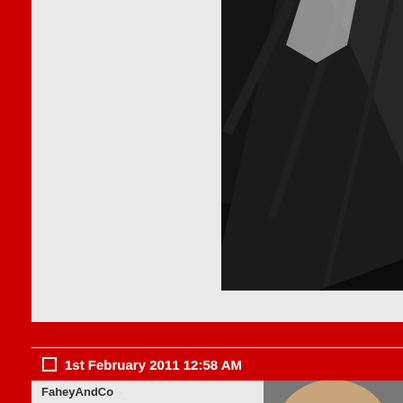[Figure (screenshot): Web forum page showing a user post. Red left sidebar. Top section shows a dark/black photo on the right. A red divider bar separates sections. Post header bar shows date '1st February 2011 12:58 AM' in white text on red. Bottom section shows user info card for FaheyAndCo (Peter Carpenter) with Join Date Nov 2010, Location Drimnagh, Posts 304, Thanks 539, Thanked 32 Times in 18 Posts, alongside a photo of an older man's face.]
1st February 2011 12:58 AM
FaheyAndCo
Peter Carpenter
Join Date: Nov 2010
Location: Drimnagh
Posts: 304
Thanks: 539
Thanked 32 Times in 18 Posts